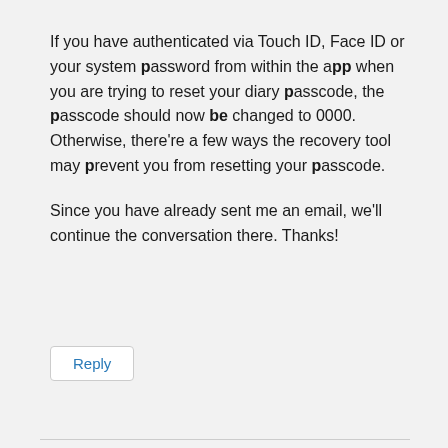If you have authenticated via Touch ID, Face ID or your system password from within the app when you are trying to reset your diary passcode, the passcode should now be changed to 0000. Otherwise, there're a few ways the recovery tool may prevent you from resetting your passcode.
Since you have already sent me an email, we'll continue the conversation there. Thanks!